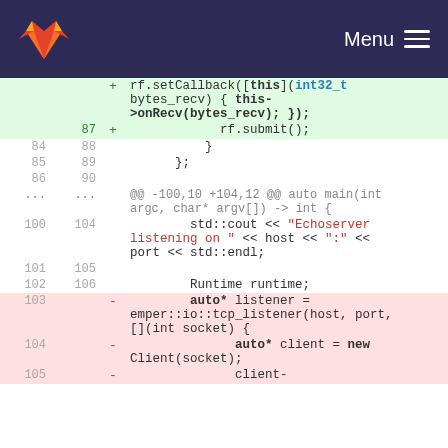GitLab logo | Menu
[Figure (screenshot): GitLab code diff view showing C++ source code changes. Lines 84-90 show context, lines 100-106 show std::cout and Runtime sections, lines 103-105 show removed lines with auto* listener and client code.]